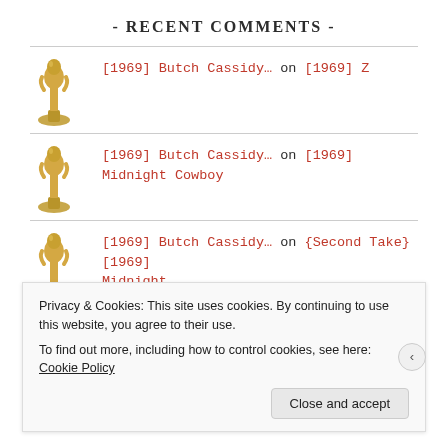- RECENT COMMENTS -
[1969] Butch Cassidy... on [1969] Z
[1969] Butch Cassidy... on [1969] Midnight Cowboy
[1969] Butch Cassidy... on {Second Take} [1969] Midnight...
[2019] Joker -... on [1976] Taxi Driver
Privacy & Cookies: This site uses cookies. By continuing to use this website, you agree to their use.
To find out more, including how to control cookies, see here: Cookie Policy